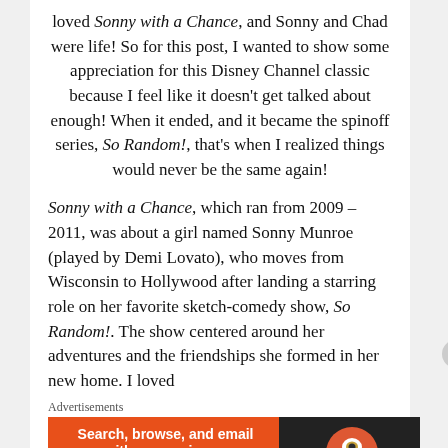loved Sonny with a Chance, and Sonny and Chad were life! So for this post, I wanted to show some appreciation for this Disney Channel classic because I feel like it doesn't get talked about enough! When it ended, and it became the spinoff series, So Random!, that's when I realized things would never be the same again!
Sonny with a Chance, which ran from 2009 – 2011, was about a girl named Sonny Munroe (played by Demi Lovato), who moves from Wisconsin to Hollywood after landing a starring role on her favorite sketch-comedy show, So Random!. The show centered around her adventures and the friendships she formed in her new home. I loved
Advertisements
[Figure (other): DuckDuckGo advertisement banner: orange-red left side with text 'Search, browse, and email with more privacy. All in One Free App' button, dark right side with DuckDuckGo duck logo and brand name.]